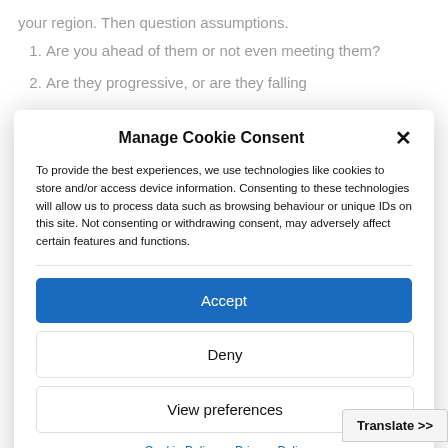1. Are you ahead of them or not even meeting them?
2. Are they progressive, or are they falling
Manage Cookie Consent
To provide the best experiences, we use technologies like cookies to store and/or access device information. Consenting to these technologies will allow us to process data such as browsing behaviour or unique IDs on this site. Not consenting or withdrawing consent, may adversely affect certain features and functions.
Accept
Deny
View preferences
Cookie Policy  Privacy Policy
Translate >>